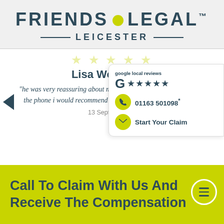[Figure (logo): Friends Legal logo with yellow dot and LEICESTER subtitle with horizontal rules]
★★★★★ (faint stars)
Lisa Woodward
"he was very reassuring about my claim and he was very polite on the phone i would recommend it company to anyone. thank you"
13 September 20
google local reviews ★★★★★
01163 501098*
Start Your Claim
Call To Claim With Us And Receive The Compensation